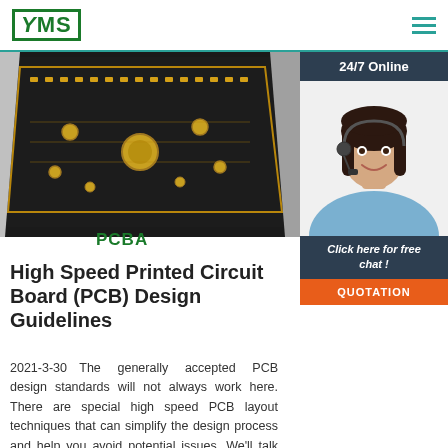YMS
[Figure (photo): PCB board angled top-down photograph showing gold connectors and components on dark PCB substrate]
[Figure (photo): 24/7 Online customer service agent photo - woman with headset smiling]
PCBA
Click here for free chat !
QUOTATION
High Speed Printed Circuit Board (PCB) Design Guidelines
2021-3-30  The generally accepted PCB design standards will not always work here. There are special high speed PCB layout techniques that can simplify the design process and help you avoid potential issues. We'll talk about these techniques